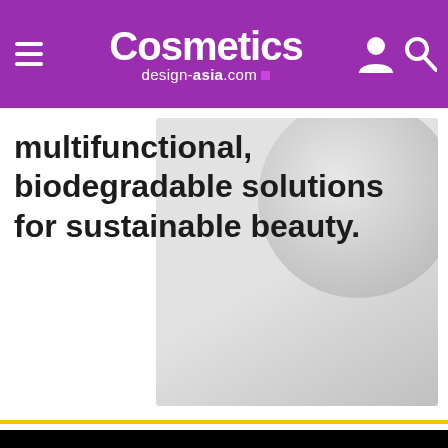Cosmetics design-asia.com
[Figure (screenshot): Partial article image showing text 'multifunctional, biodegradable solutions for sustainable beauty.' overlaid on a light grey cosmetic product background]
Volume-led growth focus amid ‘unpredictable’ future
This website uses cookies. By continuing to browse our website, you are agreeing to our use of cookies. You can learn more about cookies by visiting our privacy & cookies policy page.